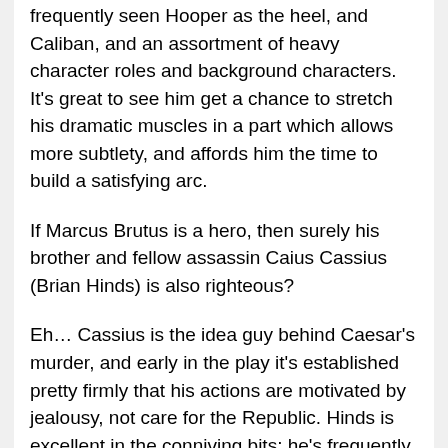frequently seen Hooper as the heel, and Caliban, and an assortment of heavy character roles and background characters. It's great to see him get a chance to stretch his dramatic muscles in a part which allows more subtlety, and affords him the time to build a satisfying arc.
If Marcus Brutus is a hero, then surely his brother and fellow assassin Caius Cassius (Brian Hinds) is also righteous?
Eh... Cassius is the idea guy behind Caesar's murder, and early in the play it's established pretty firmly that his actions are motivated by jealousy, not care for the Republic. Hinds is excellent in the conniving bits; he's frequently cast in roles whose plots or thoughts are their main character attributes. Here he gets to plot, but he's also a man of action, a role that Hinds plays just as well. His stirring speeches are so convincing that it's easy to be swayed to his side. To paraphrase Cassius